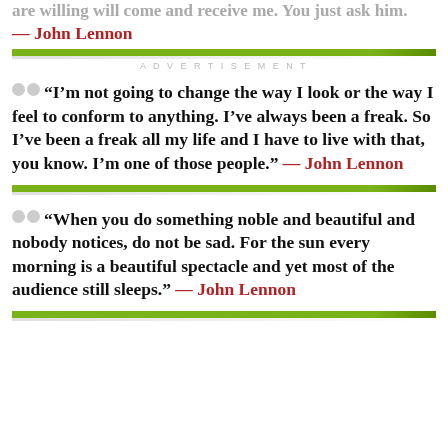— John Lennon
ADVERTISEMENT
“I’m not going to change the way I look or the way I feel to conform to anything. I’ve always been a freak. So I’ve been a freak all my life and I have to live with that, you know. I’m one of those people.” — John Lennon
“When you do something noble and beautiful and nobody notices, do not be sad. For the sun every morning is a beautiful spectacle and yet most of the audience still sleeps.” — John Lennon